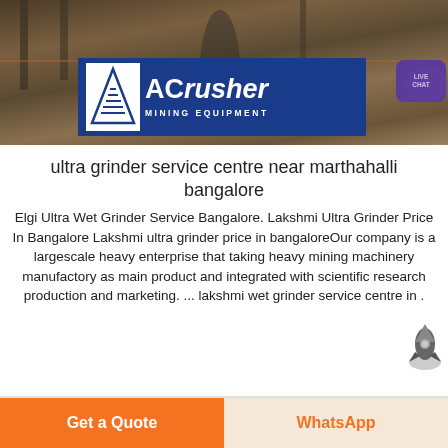[Figure (photo): Mining/crushing equipment at industrial site with ACrusher Mining Equipment logo overlay and Live Chat bubble]
ultra grinder service centre near marthahalli bangalore
Elgi Ultra Wet Grinder Service Bangalore. Lakshmi Ultra Grinder Price In Bangalore Lakshmi ultra grinder price in bangaloreOur company is a largescale heavy enterprise that taking heavy mining machinery manufactory as main product and integrated with scientific research production and marketing. ... lakshmi wet grinder service centre in .
Get a Quote | WhatsApp